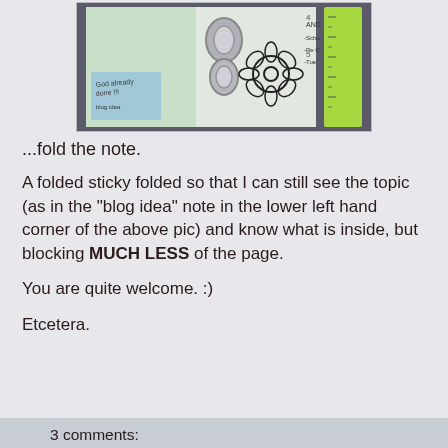[Figure (photo): A photo of an open binder/planner with a metal ring binder visible, showing pages with handwritten notes and a flower stamp drawing. A small sticky note in the lower left corner reads 'God already done!!!' and 'blog idea'. A green ruler is visible on the right side.]
...fold the note.
A folded sticky folded so that I can still see the topic (as in the "blog idea" note in the lower left hand corner of the above pic) and know what is inside, but blocking MUCH LESS of the page.
You are quite welcome. :)
Etcetera.
3 comments: